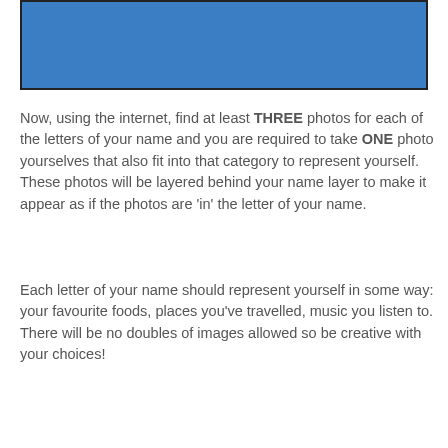[Figure (illustration): Blue rectangle image placeholder at top of page]
Now, using the internet, find at least THREE photos for each of the letters of your name and you are required to take ONE photo yourselves that also fit into that category to represent yourself. These photos will be layered behind your name layer to make it appear as if the photos are 'in' the letter of your name.
Each letter of your name should represent yourself in some way: your favourite foods, places you've travelled, music you listen to. There will be no doubles of images allowed so be creative with your choices!